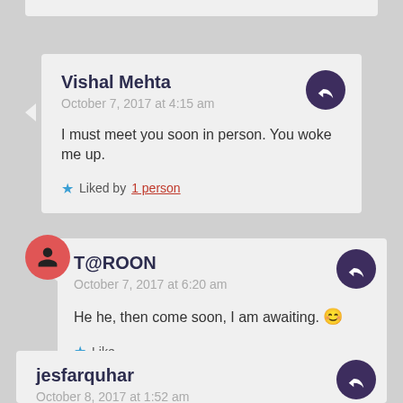Vishal Mehta
October 7, 2017 at 4:15 am
I must meet you soon in person. You woke me up.
★ Liked by 1 person
T@ROON
October 7, 2017 at 6:20 am
He he, then come soon, I am awaiting. 😊
★ Like
jesfarquhar
October 8, 2017 at 1:52 am